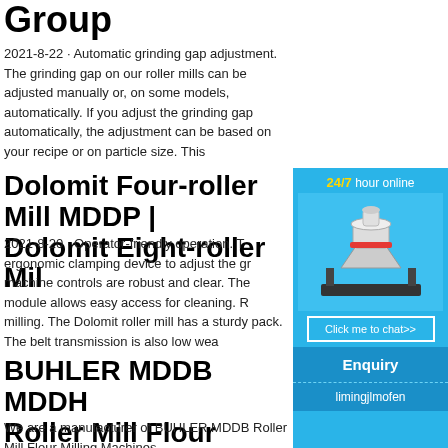Group
2021-8-22 · Automatic grinding gap adjustment. The grinding gap on our roller mills can be adjusted manually or, on some models, automatically. If you adjust the grinding gap automatically, the adjustment can be based on your recipe or on particle size. This
Dolomit Four-roller Mill MDDP | Dolomit Eight-roller Mil
[Figure (photo): 24/7 hour online chat widget with a cone crusher machine image and 'Click me to chat>>' button, Enquiry link, and limingjlmofen footer]
2021-8-20 · Operator-friendly operation. T ergonomic clamping device to adjust the gr machine controls are robust and clear. The module allows easy access for cleaning. R milling. The Dolomit roller mill has a sturdy pack. The belt transmission is also low wea
BUHLER MDDB MDDH Roller Mill Flour Milling
We are a manufacturer of BUHLER MDDB Roller Mill Flour Milling Machines,…